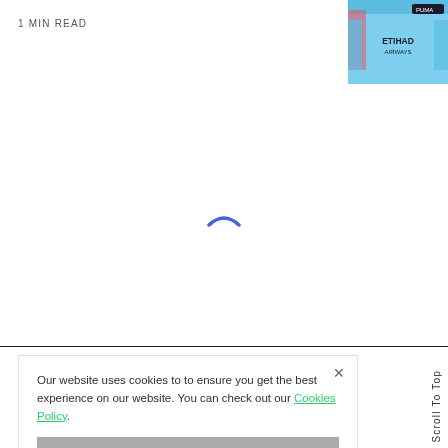1 MIN READ
[Figure (photo): Football/soccer jerseys with Etihad Airways sponsor logo and Puma branding, light blue color]
[Figure (other): Blue loading spinner/indicator in the center of white space]
Our website uses cookies to to ensure you get the best experience on our website. You can check out our Cookies Policy.
I ACCEPT USE OF COOKIES
Scroll To Top
We believe that truth and facts still exist and must